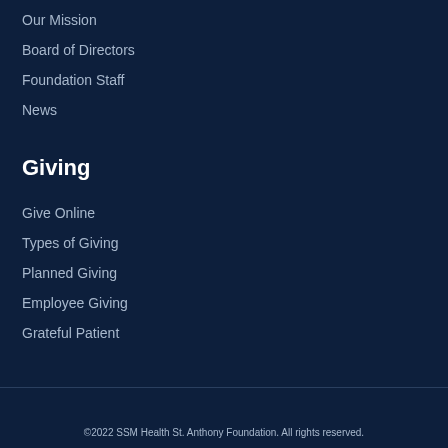Our Mission
Board of Directors
Foundation Staff
News
Giving
Give Online
Types of Giving
Planned Giving
Employee Giving
Grateful Patient
©2022 SSM Health St. Anthony Foundation. All rights reserved.